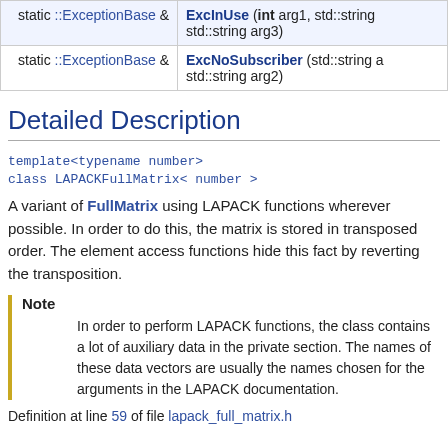|  |  |
| --- | --- |
| static ::ExceptionBase & | ExcInUse (int arg1, std::string  std::string arg3) |
| static ::ExceptionBase & | ExcNoSubscriber (std::string a  std::string arg2) |
Detailed Description
template<typename number>
class LAPACKFullMatrix< number >
A variant of FullMatrix using LAPACK functions wherever possible. In order to do this, the matrix is stored in transposed order. The element access functions hide this fact by reverting the transposition.
Note
In order to perform LAPACK functions, the class contains a lot of auxiliary data in the private section. The names of these data vectors are usually the names chosen for the arguments in the LAPACK documentation.
Definition at line 59 of file lapack_full_matrix.h